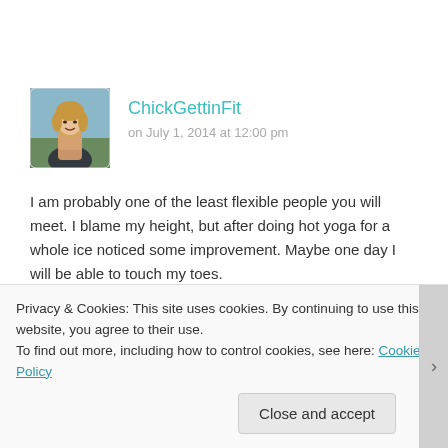[Figure (photo): Avatar photo of a blonde woman smiling, outdoors, with rounded corners]
ChickGettinFit
on July 1, 2014 at 12:00 pm
I am probably one of the least flexible people you will meet. I blame my height, but after doing hot yoga for a whole ice noticed some improvement. Maybe one day I will be able to touch my toes.
Reply
Privacy & Cookies: This site uses cookies. By continuing to use this website, you agree to their use.
To find out more, including how to control cookies, see here: Cookie Policy
Close and accept